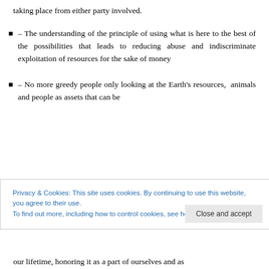taking place from either party involved.
– The understanding of the principle of using what is here to the best of the possibilities that leads to reducing abuse and indiscriminate exploitation of resources for the sake of money
– No more greedy people only looking at the Earth's resources, animals and people as assets that can be
Privacy & Cookies: This site uses cookies. By continuing to use this website, you agree to their use. To find out more, including how to control cookies, see here: Cookie Policy
our lifetime, honoring it as a part of ourselves and as